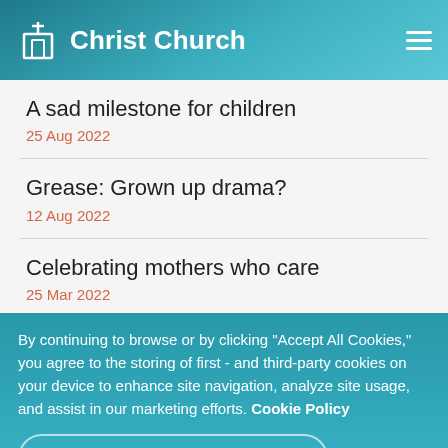Christ Church
A sad milestone for children
25 Aug 2022
Grease: Grown up drama?
12 Aug 2022
Celebrating mothers who care
25 Mar 2022
By continuing to browse or by clicking "Accept All Cookies," you agree to the storing of first - and third-party cookies on your device to enhance site navigation, analyze site usage, and assist in our marketing efforts. Cookie Policy
Accept All Cookies